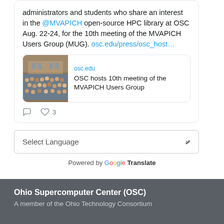administrators and students who share an interest in the @MVAPICH open-source HPC library at OSC Aug. 22-24, for the 10th meeting of the MVAPICH Users Group (MUG). osc.edu/press/osc_host…
[Figure (screenshot): Link preview card showing a group photo of conference attendees in front of a building, with text 'osc.edu' and 'OSC hosts 10th meeting of the MVAPICH Users Group']
comment icon  heart icon  3
Select Language (dropdown)
Powered by Google Translate
Ohio Supercomputer Center (OSC)
A member of the Ohio Technology Consortium